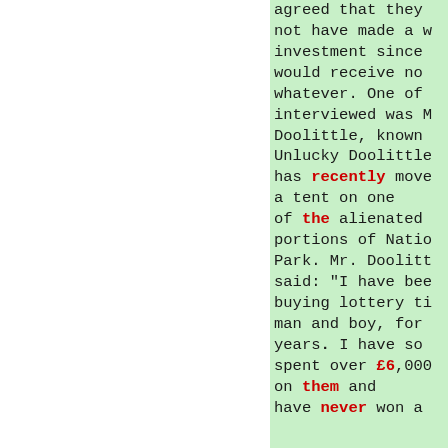agreed that they not have made a w investment since would receive no whatever. One of interviewed was M Doolittle, known Unlucky Doolittle has recently move a tent on one of the alienated portions of Natio Park. Mr. Doolitt said: "I have bee buying lottery ti man and boy, for years. I have so spent over £6,000 on them and have never won a